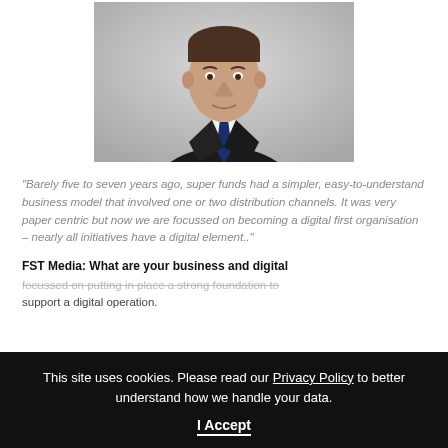[Figure (photo): Professional headshot of a man in a dark suit and blue tie against a grey background]
“Barely five to seven years ago, super funds had a simpler, easy-to-understand business model that involved one or two distribution channels. It was very paper centric but now we are focussed on becoming a digital first organisation – nearly all initiatives have a digital element..”
FST Media: What are your business and digital
focussed on putting in place a strong foundation to support a digital operation.
This site uses cookies. Please read our Privacy Policy to better understand how we handle your data. I Accept